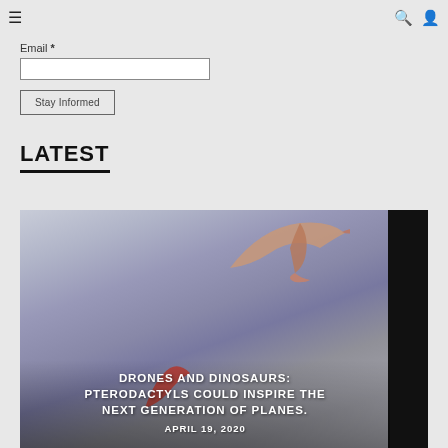≡  🔍 👤
Email *
Stay Informed
LATEST
[Figure (photo): A pterodactyl flying against a cloudy sky background, with a dark panel on the right side of the image.]
DRONES AND DINOSAURS: PTERODACTYLS COULD INSPIRE THE NEXT GENERATION OF PLANES.
APRIL 19, 2020